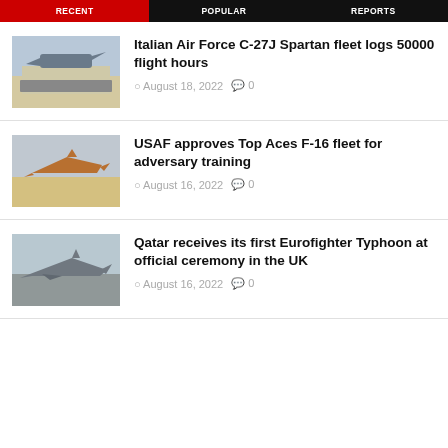RECENT | POPULAR | REPORTS
[Figure (photo): Military personnel standing in front of a C-27J Spartan aircraft on a tarmac]
Italian Air Force C-27J Spartan fleet logs 50000 flight hours
August 18, 2022  0
[Figure (photo): F-16 fighter jet in flight over desert terrain, orange/tan color scheme]
USAF approves Top Aces F-16 fleet for adversary training
August 16, 2022  0
[Figure (photo): Eurofighter Typhoon jet aircraft in flight]
Qatar receives its first Eurofighter Typhoon at official ceremony in the UK
August 16, 2022  0